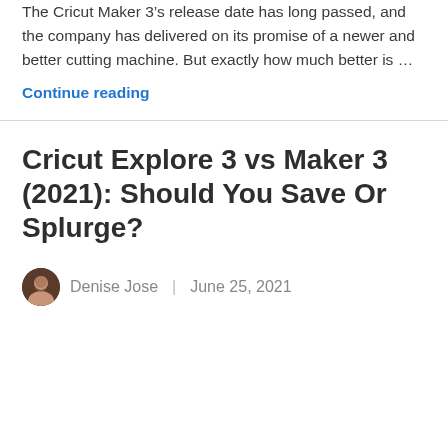The Cricut Maker 3's release date has long passed, and the company has delivered on its promise of a newer and better cutting machine. But exactly how much better is …
Continue reading
Cricut Explore 3 vs Maker 3 (2021): Should You Save Or Splurge?
Denise Jose | June 25, 2021